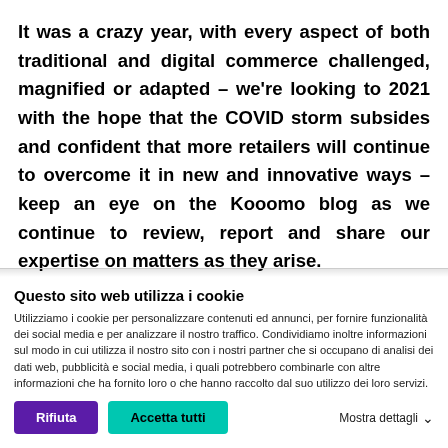It was a crazy year, with every aspect of both traditional and digital commerce challenged, magnified or adapted – we're looking to 2021 with the hope that the COVID storm subsides and confident that more retailers will continue to overcome it in new and innovative ways – keep an eye on the Kooomo blog as we continue to review, report and share our expertise on matters as they arise.
Questo sito web utilizza i cookie
Utilizziamo i cookie per personalizzare contenuti ed annunci, per fornire funzionalità dei social media e per analizzare il nostro traffico. Condividiamo inoltre informazioni sul modo in cui utilizza il nostro sito con i nostri partner che si occupano di analisi dei dati web, pubblicità e social media, i quali potrebbero combinarle con altre informazioni che ha fornito loro o che hanno raccolto dal suo utilizzo dei loro servizi.
Rifiuta | Accetta tutti | Mostra dettagli